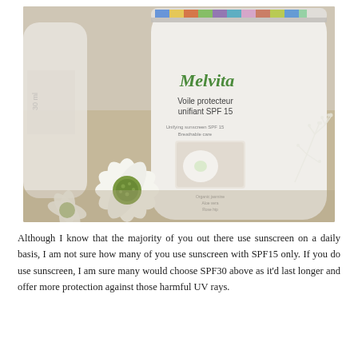[Figure (photo): A close-up photo of a Melvita 'Voile protecteur unifiant SPF 15' sunscreen product (white cylindrical container) on a table, with white flowers in the foreground and other cosmetic products in the background.]
Although I know that the majority of you out there use sunscreen on a daily basis, I am not sure how many of you use sunscreen with SPF15 only. If you do use sunscreen, I am sure many would choose SPF30 above as it'd last longer and offer more protection against those harmful UV rays.